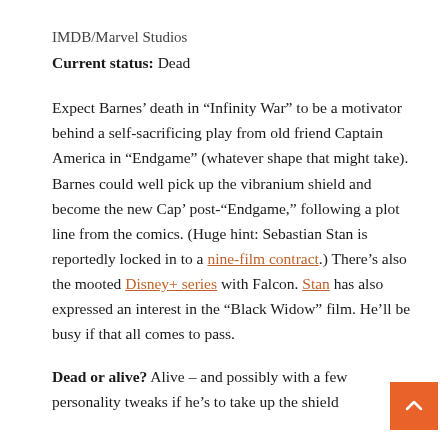IMDB/Marvel Studios
Current status: Dead
Expect Barnes’ death in “Infinity War” to be a motivator behind a self-sacrificing play from old friend Captain America in “Endgame” (whatever shape that might take). Barnes could well pick up the vibranium shield and become the new Cap’ post-“Endgame,” following a plot line from the comics. (Huge hint: Sebastian Stan is reportedly locked in to a nine-film contract.) There’s also the mooted Disney+ series with Falcon. Stan has also expressed an interest in the “Black Widow” film. He’ll be busy if that all comes to pass.
Dead or alive? Alive – and possibly with a few personality tweaks if he’s to take up the shield